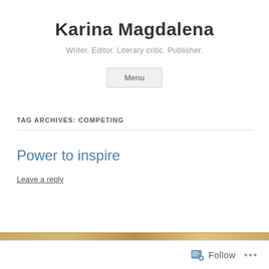Karina Magdalena
Writer. Editor. Literary critic. Publisher.
Menu
TAG ARCHIVES: COMPETING
Power to inspire
Leave a reply
Follow